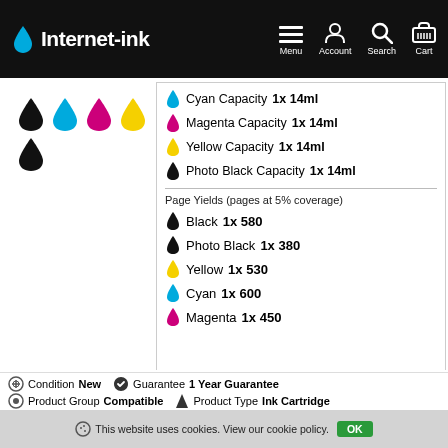Internet-ink | Menu | Account | Search | Cart
[Figure (illustration): Five ink drop icons in black, cyan, magenta, yellow, black colors]
Cyan Capacity 1x 14ml
Magenta Capacity 1x 14ml
Yellow Capacity 1x 14ml
Photo Black Capacity 1x 14ml
Page Yields (pages at 5% coverage)
Black 1x 580
Photo Black 1x 380
Yellow 1x 530
Cyan 1x 600
Magenta 1x 450
Condition New    Guarantee 1 Year Guarantee
Product Group Compatible    Product Type Ink Cartridge
This website uses cookies. View our cookie policy.    OK